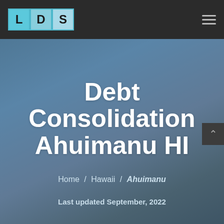[Figure (logo): LDS logo with three colored square tiles showing letters L, D, S in light blue/cyan colors on dark navigation bar]
LDS navigation bar with hamburger menu icon
Debt Consolidation Ahuimanu HI
Home / Hawaii / Ahuimanu
Last updated September, 2022